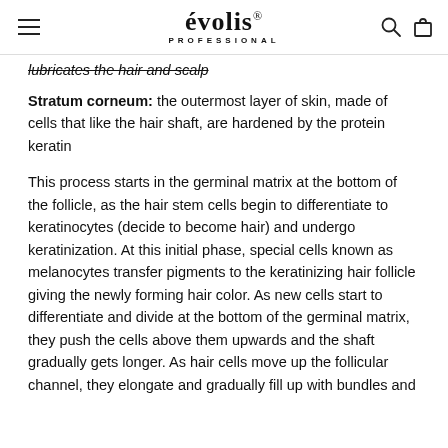évolis® PROFESSIONAL
lubricates the hair and scalp
Stratum corneum: the outermost layer of skin, made of cells that like the hair shaft, are hardened by the protein keratin
This process starts in the germinal matrix at the bottom of the follicle, as the hair stem cells begin to differentiate to keratinocytes (decide to become hair) and undergo keratinization. At this initial phase, special cells known as melanocytes transfer pigments to the keratinizing hair follicle giving the newly forming hair color. As new cells start to differentiate and divide at the bottom of the germinal matrix, they push the cells above them upwards and the shaft gradually gets longer. As hair cells move up the follicular channel, they elongate and gradually fill up with bundles and